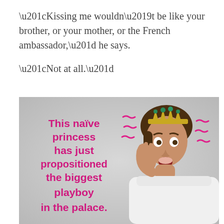“Kissing me wouldn’t be like your brother, or your mother, or the French ambassador,” he says.
“Not at all.”
[Figure (illustration): Book cover promotional image showing a young woman wearing a tiara/crown with a surprised expression, hand raised to her face. Pink bold text reads: 'This naïve princess has just propositioned the biggest playboy in the palace.' Pink decorative squiggle marks surround the text. Gray background.]